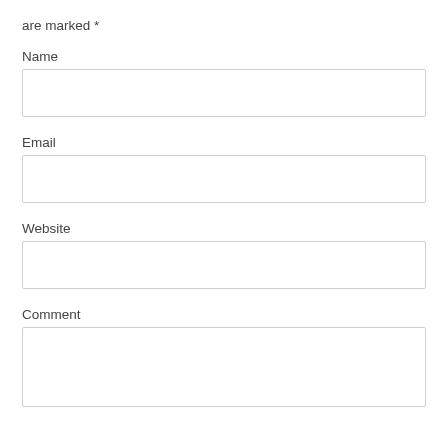are marked *
Name
Email
Website
Comment